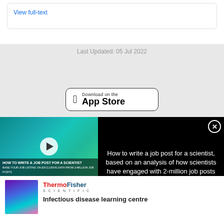View full-text
Last Updated: 05 Jul 2022
[Figure (screenshot): Download on the App Store button]
[Figure (screenshot): Video thumbnail: How to write a job post for a scientist, with play button overlay]
How to write a job post for a scientist, based on an analysis of how scientists have engaged with 2-million job posts
[Figure (logo): ThermoFisher Scientific logo with purple-to-blue gradient thumbnail]
Infectious disease learning centre